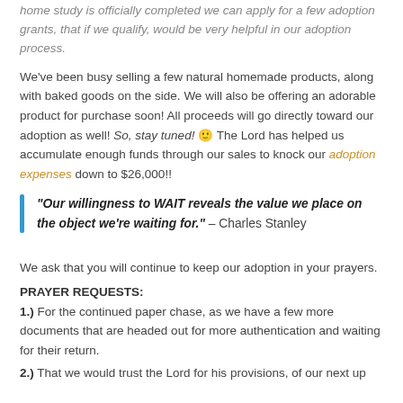home study is officially completed we can apply for a few adoption grants, that if we qualify, would be very helpful in our adoption process.
We've been busy selling a few natural homemade products, along with baked goods on the side. We will also be offering an adorable product for purchase soon! All proceeds will go directly toward our adoption as well! So, stay tuned! 🙂 The Lord has helped us accumulate enough funds through our sales to knock our adoption expenses down to $26,000!!
"Our willingness to WAIT reveals the value we place on the object we're waiting for." – Charles Stanley
We ask that you will continue to keep our adoption in your prayers.
PRAYER REQUESTS:
1.) For the continued paper chase, as we have a few more documents that are headed out for more authentication and waiting for their return.
2.) That we would trust the Lord for his provisions, of our next up